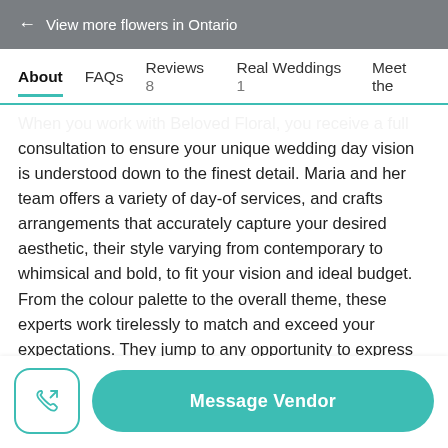← View more flowers in Ontario
About   FAQs   Reviews 8   Real Weddings 1   Meet the
When you work with Beloved Floral, you receive a full consultation to ensure your unique wedding day vision is understood down to the finest detail. Maria and her team offers a variety of day-of services, and crafts arrangements that accurately capture your desired aesthetic, their style varying from contemporary to whimsical and bold, to fit your vision and ideal budget. From the colour palette to the overall theme, these experts work tirelessly to match and exceed your expectations. They jump to any opportunity to express their creativity and innovate beautiful installations. Some examples of arrangements include but are not limited
Message Vendor